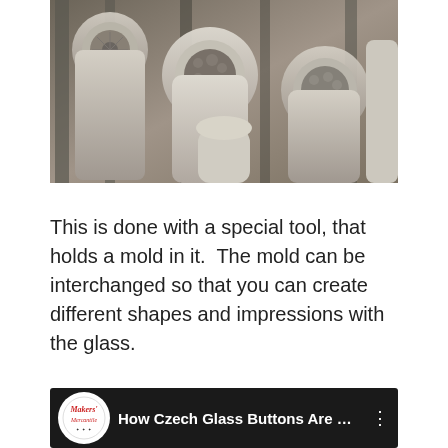[Figure (photo): Close-up photograph of several glass button mold tools with ornate circular metal mold faces showing floral and textured patterns, held in worn stone or ceramic holders arranged together]
This is done with a special tool, that holds a mold in it.  The mold can be interchanged so that you can create different shapes and impressions with the glass.
[Figure (screenshot): Video thumbnail showing Makers' Mercantile logo (circular badge with cursive text) on dark background with title text 'How Czech Glass Buttons Are Ma...' and a vertical dots menu icon]